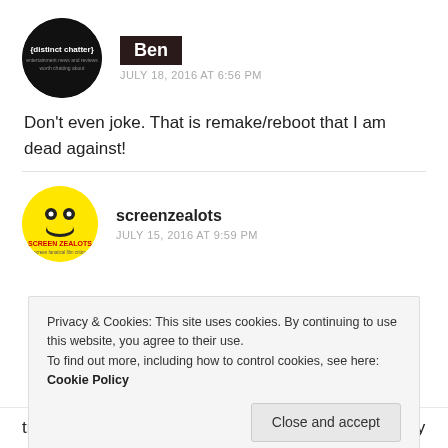[Figure (illustration): Circular avatar with dark background showing 'distinct chatter' text logo]
Ben
JULY 18, 2016 AT 6:56 PM
Don't even joke. That is remake/reboot that I am dead against!
[Figure (illustration): Circular yellow avatar with Screen Zealots logo]
screenzealots
JULY 15, 2016 AT 9:59 PM
Privacy & Cookies: This site uses cookies. By continuing to use this website, you agree to their use.
To find out more, including how to control cookies, see here: Cookie Policy
Close and accept
trailers for the film are absolutely TERRIBLE and they